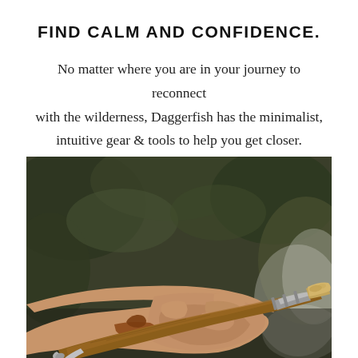FIND CALM AND CONFIDENCE.
No matter where you are in your journey to reconnect with the wilderness, Daggerfish has the minimalist, intuitive gear & tools to help you get closer.
[Figure (photo): A hand holding a wooden fire-starting tool (ferro rod with wooden handle and cork tip) with a leather wrist strap, smoke visible in the background, blurred green foliage in the background.]